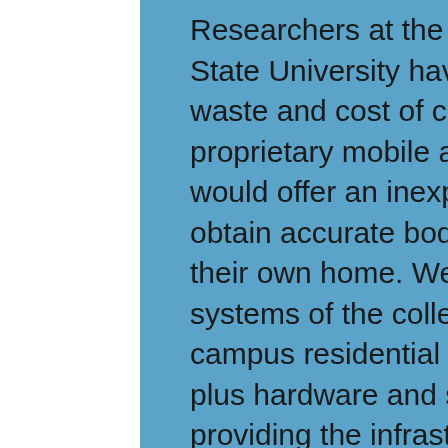Researchers at the Wilson College of Textiles at NC State University have developed a solution to the waste and cost of clothing returns: Prime Fit, a proprietary mobile app and garment system that would offer an inexpensive way for consumers to obtain accurate body measurements in the privacy of their own home. We support the administrative systems of the college, instructional computing, campus residential network, technology user support, plus hardware and software. We pride ourselves on providing the infrastructure, applications and services that are vital to the operation and mission of the College. Determine which SET degree program is right for you by discussing your unique strengths, goals